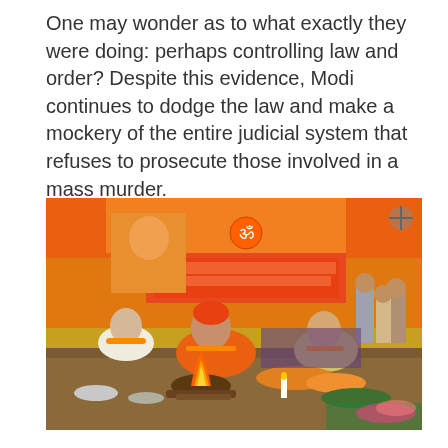One may wonder as to what exactly they were doing: perhaps controlling law and order? Despite this evidence, Modi continues to dodge the law and make a mockery of the entire judicial system that refuses to prosecute those involved in a mass murder.
[Figure (photo): A photograph of a Hindu religious ceremony (puja/havan) taking place in an outdoor tent decorated with orange fabric and banners with Bengali script. Several men in traditional orange and white clothing sit cross-legged around a ceremonial fire pit with offerings, flowers, and ritual items. Other people stand in the background.]